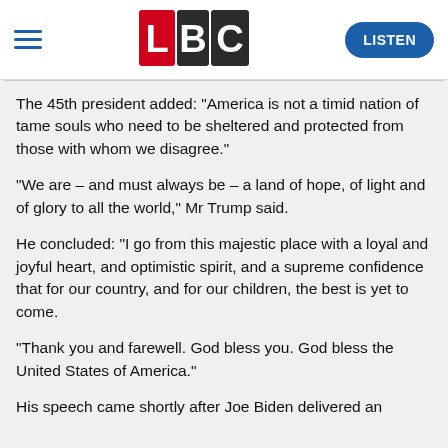[Figure (logo): LBC radio logo with L in red, B in dark gray/black, C in dark gray/black squares, with white lettering]
The 45th president added: "America is not a timid nation of tame souls who need to be sheltered and protected from those with whom we disagree."
"We are – and must always be – a land of hope, of light and of glory to all the world," Mr Trump said.
He concluded: "I go from this majestic place with a loyal and joyful heart, and optimistic spirit, and a supreme confidence that for our country, and for our children, the best is yet to come.
"Thank you and farewell. God bless you. God bless the United States of America."
His speech came shortly after Joe Biden delivered an